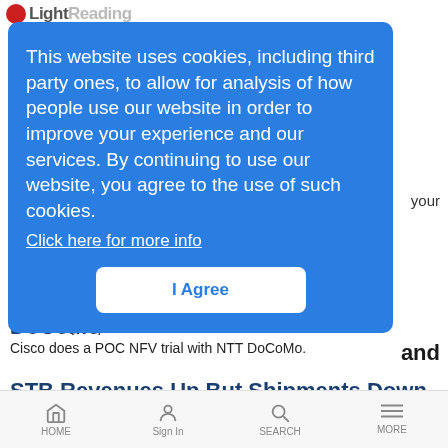Light Reading
This website uses cookies, including third party ones, to allow for analysis of how people use our website in order to improve your experience and our services. By continuing to use our website, you agree to the use of such cookies.
Click here for more info
I Agree
Cisco Boasts NFV Trial With NTT DoCoMo
News Analysis | 10/16/2014
Cisco does a POC NFV trial with NTT DoCoMo.
STB Revenues Up But Shipments Down
HOME   Sign In   SEARCH   MORE